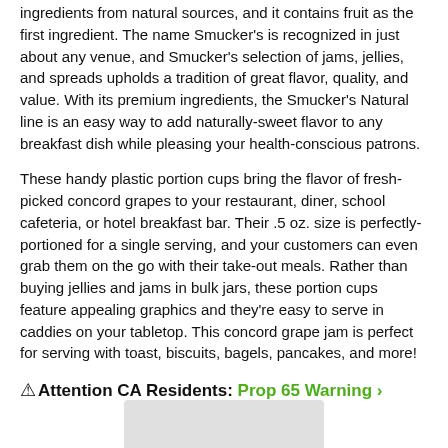ingredients from natural sources, and it contains fruit as the first ingredient. The name Smucker's is recognized in just about any venue, and Smucker's selection of jams, jellies, and spreads upholds a tradition of great flavor, quality, and value. With its premium ingredients, the Smucker's Natural line is an easy way to add naturally-sweet flavor to any breakfast dish while pleasing your health-conscious patrons.
These handy plastic portion cups bring the flavor of fresh-picked concord grapes to your restaurant, diner, school cafeteria, or hotel breakfast bar. Their .5 oz. size is perfectly-portioned for a single serving, and your customers can even grab them on the go with their take-out meals. Rather than buying jellies and jams in bulk jars, these portion cups feature appealing graphics and they're easy to serve in caddies on your tabletop. This concord grape jam is perfect for serving with toast, biscuits, bagels, pancakes, and more!
⚠ Attention CA Residents: Prop 65 Warning ›